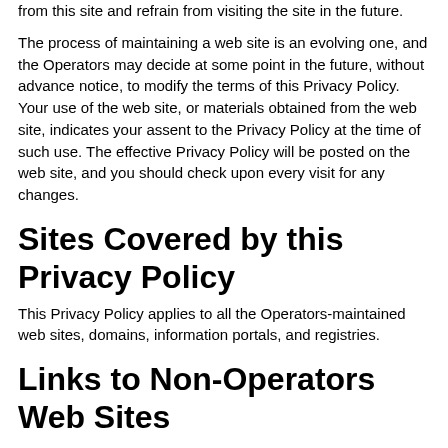from this site and refrain from visiting the site in the future.
The process of maintaining a web site is an evolving one, and the Operators may decide at some point in the future, without advance notice, to modify the terms of this Privacy Policy. Your use of the web site, or materials obtained from the web site, indicates your assent to the Privacy Policy at the time of such use. The effective Privacy Policy will be posted on the web site, and you should check upon every visit for any changes.
Sites Covered by this Privacy Policy
This Privacy Policy applies to all the Operators-maintained web sites, domains, information portals, and registries.
Links to Non-Operators Web Sites
The Operators’s web sites may provide links to third-party web sites for the convenience of our users. If you access those links, you will leave the Operators's web site. the Operators do not control these third-party websites and cannot represent that their policies and practices will be consistent with this Privacy Policy. For example, other web sites may collect or use personal information about you in a manner different from that described in this